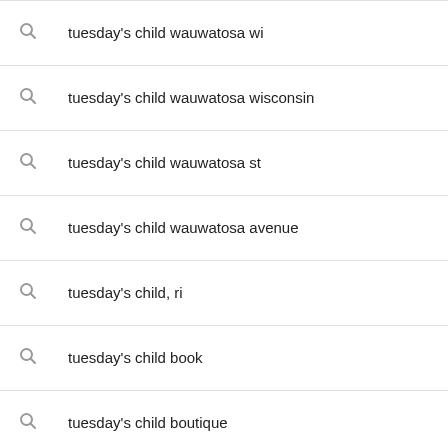tuesday's child wauwatosa wi
tuesday's child wauwatosa wisconsin
tuesday's child wauwatosa st
tuesday's child wauwatosa avenue
tuesday's child, ri
tuesday's child book
tuesday's child boutique
tuesday's child clothing
tuesday's child rhode island